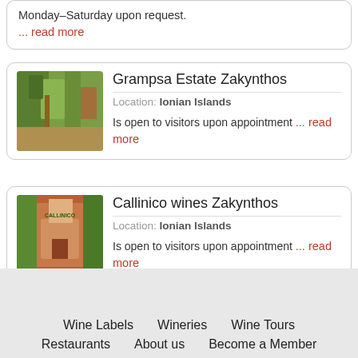Monday–Saturday upon request. ... read more
Grampsa Estate Zakynthos
Location: Ionian Islands
Is open to visitors upon appointment ... read more
[Figure (photo): Entrance of Grampsa Estate winery with trees and a path]
Callinico wines Zakynthos
Location: Ionian Islands
Is open to visitors upon appointment ... read more
[Figure (photo): Entrance of Callinico wines with sign and lush greenery]
Wine Labels   Wineries   Wine Tours
Restaurants   About us   Become a Member